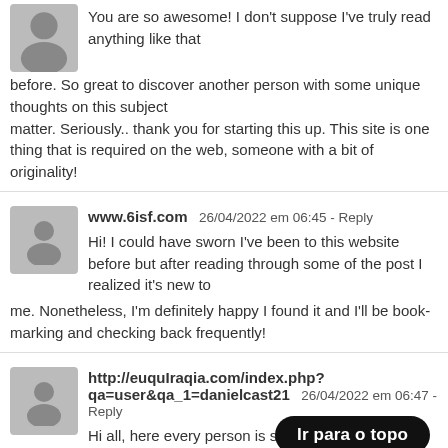You are so awesome! I don't suppose I've truly read anything like that before. So great to discover another person with some unique thoughts on this subject matter. Seriously.. thank you for starting this up. This site is one thing that is required on the web, someone with a bit of originality!
www.6isf.com  26/04/2022 em 06:45 - Reply
Hi! I could have sworn I've been to this website before but after reading through some of the post I realized it's new to me. Nonetheless, I'm definitely happy I found it and I'll be book-marking and checking back frequently!
http://euquIraqia.com/index.php?qa=user&qa_1=danielcast21  26/04/2022 em 06:47 - Reply
Hi all, here every person is sharing the experience, therefore it's nice to read this